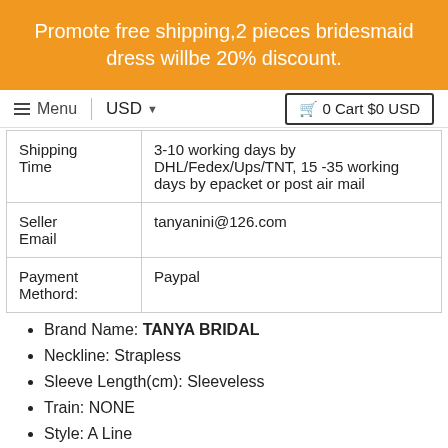Promote free shipping,2 pieces bridesmaid dress willbe 20% discount.
Menu  USD  0 Cart $0 USD
| Shipping Time | 3-10 working days by DHL/Fedex/Ups/TNT, 15 -35 working days by epacket or post air mail |
| Seller Email | tanyanini@126.com |
| Payment Methord: | Paypal |
Brand Name: TANYA BRIDAL
Neckline: Strapless
Sleeve Length(cm): Sleeveless
Train: NONE
Style: A Line
Pattern Type: Others
Dresses Length: Floor-Length
[Figure (other): Green Chat with us button]